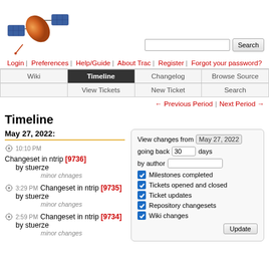[Figure (logo): Satellite/spacecraft logo with orange body and blue solar panels]
Login | Preferences | Help/Guide | About Trac | Register | Forgot your password?
Wiki | Timeline | Changelog | Browse Source | View Tickets | New Ticket | Search
← Previous Period | Next Period →
Timeline
May 27, 2022:
10:10 PM Changeset in ntrip [9736] by stuerze
minor chnages
3:29 PM Changeset in ntrip [9735] by stuerze
minor changes
2:59 PM Changeset in ntrip [9734] by stuerze
minor changes
View changes from May 27, 2022 going back 30 days by author
Milestones completed
Tickets opened and closed
Ticket updates
Repository changesets
Wiki changes
Update